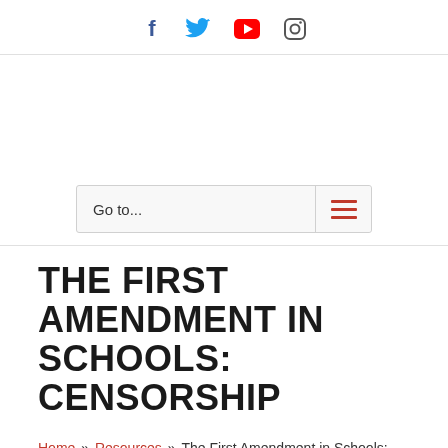Social media icons: Facebook, Twitter, YouTube, Instagram
[Figure (other): Navigation bar with 'Go to...' dropdown and hamburger menu icon]
THE FIRST AMENDMENT IN SCHOOLS: CENSORSHIP
Home » Resources » The First Amendment in Schools: Censorship